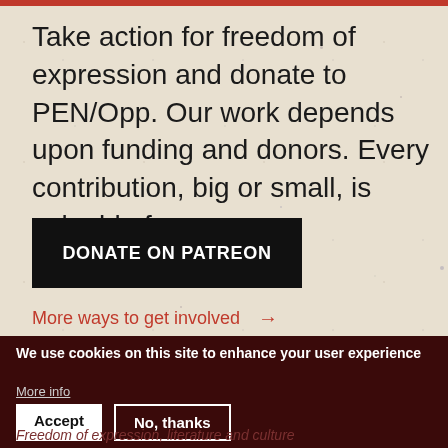Take action for freedom of expression and donate to PEN/Opp. Our work depends upon funding and donors. Every contribution, big or small, is valuable for us.
DONATE ON PATREON
More ways to get involved →
We use cookies on this site to enhance your user experience
More info
Accept
No, thanks
Freedom of expression, literature and culture